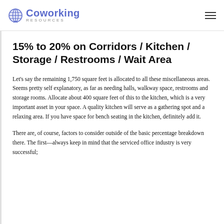Coworking RESOURCES
15% to 20% on Corridors / Kitchen / Storage / Restrooms / Wait Area
Let's say the remaining 1,750 square feet is allocated to all these miscellaneous areas. Seems pretty self explanatory, as far as needing halls, walkway space, restrooms and storage rooms. Allocate about 400 square feet of this to the kitchen, which is a very important asset in your space. A quality kitchen will serve as a gathering spot and a relaxing area. If you have space for bench seating in the kitchen, definitely add it.
There are, of course, factors to consider outside of the basic percentage breakdown there. The first—always keep in mind that the serviced office industry is very successful;